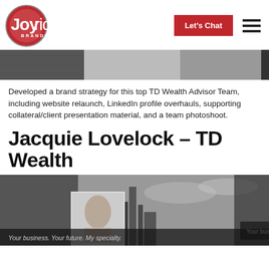[Figure (logo): Joyride Branding logo — red circle with white 'Joy' bold and 'ride' text, 'BRANDING' below]
[Figure (other): Red 'Let's Chat' button and hamburger menu icon in header]
[Figure (photo): Top grayscale image strip showing partial abstract/architectural scene]
Developed a brand strategy for this top TD Wealth Advisor Team, including website relaunch, LinkedIn profile overhauls, supporting collateral/client presentation material, and a team photoshoot.
Jacquie Lovelock – TD Wealth
[Figure (photo): Grayscale photo of city skyline with portrait of a blonde woman; text overlay reads 'Your business. Your future. My specialty.']